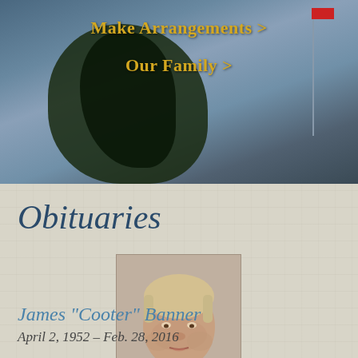[Figure (photo): Outdoor scenic banner photo showing a cloudy sky, dark green trees, and a flagpole with a flag on the right side, used as a website header background]
Make Arrangements >
Our Family >
Obituaries
[Figure (photo): Portrait photo of James 'Cooter' Banner, a heavyset man with short light hair wearing a light blue shirt]
James "Cooter" Banner
April 2, 1952 – Feb. 28, 2016